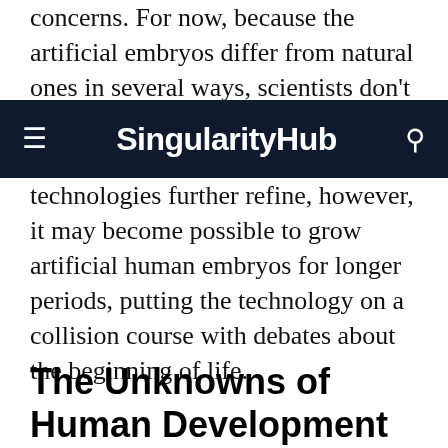concerns. For now, because the artificial embryos differ from natural ones in several ways, scientists don't expect them to have the
SingularityHub
technologies further refine, however, it may become possible to grow artificial human embryos for longer periods, putting the technology on a collision course with debates about the beginning of life.
The Unknowns of Human Development
The first 14 days of building a human are a mystery.
Scientists know that during a pregnancy, a fertilized egg develops into a blastocyst around